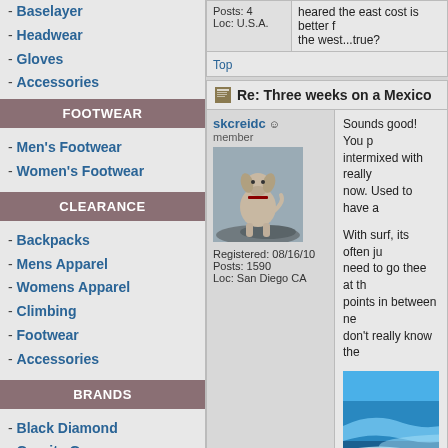Baselayer
Headwear
Gloves
Accessories
FOOTWEAR
Men's Footwear
Women's Footwear
CLEARANCE
Backpacks
Mens Apparel
Womens Apparel
Climbing
Footwear
Accessories
BRANDS
Black Diamond
Granite Gear
La Sportiva
Osprey
Posts: 4
Loc: U.S.A.
heared the east cost is better f the west...true?
Top
Re: Three weeks on a Mexico
skcreidc
member
Registered: 08/16/10
Posts: 1590
Loc: San Diego CA
Sounds good! You p intermixed with really now. Used to have a
With surf, its often ju need to go thee at th points in between ne don't really know the
[Figure (photo): Photo of a dog standing on rocks near water]
[Figure (photo): Photo of ocean waves, blue water]